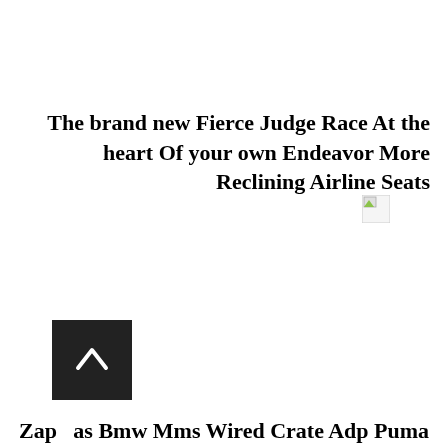The brand new Fierce Judge Race At the heart Of your own Endeavor More Reclining Airline Seats
[Figure (illustration): Broken/missing image placeholder icon with small green triangle and grey border]
Zap...as Bmw Mms Wired Crate Adp Puma